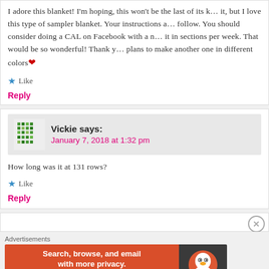I adore this blanket! I'm hoping, this won't be the last of its kind from it, but I love this type of sampler blanket. Your instructions are easy to follow. You should consider doing a CAL on Facebook with a new section of it in sections per week. That would be so wonderful! Thank you. I already plans to make another one in different colors❤
★ Like
Reply
Vickie says: January 7, 2018 at 1:32 pm
How long was it at 131 rows?
★ Like
Reply
[Figure (screenshot): DuckDuckGo advertisement banner: orange left section with text 'Search, browse, and email with more privacy. All in One Free App', dark right section with DuckDuckGo duck logo]
Advertisements